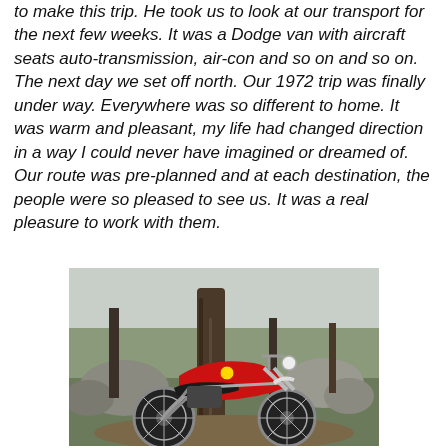to make this trip. He took us to look at our transport for the next few weeks. It was a Dodge van with aircraft seats auto-transmission, air-con and so on and so on. The next day we set off north. Our 1972 trip was finally under way. Everywhere was so different to home. It was warm and pleasant, my life had changed direction in a way I could never have imagined or dreamed of. Our route was pre-planned and at each destination, the people were so pleased to see us. It was a real pleasure to work with them.
[Figure (photo): A red motorcycle (trials/enduro style) parked on a dirt trail in a rocky, forested outdoor setting. There is a tree trunk prominently visible behind the bike, with boulders and sparse vegetation in the background.]